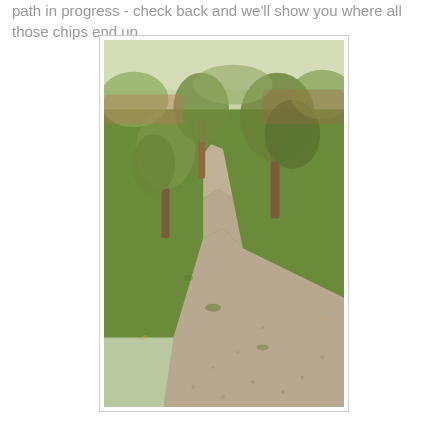path in progress - check back and we'll show you where all those chips end up.
[Figure (photo): A winding gravel/wood-chip path through a grassy area with olive trees on either side, photographed in a garden or park setting.]